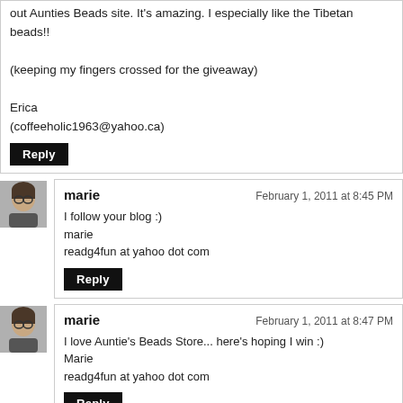out Aunties Beads site. It's amazing. I especially like the Tibetan beads!!

(keeping my fingers crossed for the giveaway)

Erica
(coffeeholic1963@yahoo.ca)
Reply
marie — February 1, 2011 at 8:45 PM

I follow your blog :)
marie
readg4fun at yahoo dot com
Reply
marie — February 1, 2011 at 8:47 PM

I love Auntie's Beads Store... here's hoping I win :)
Marie
readg4fun at yahoo dot com
Reply